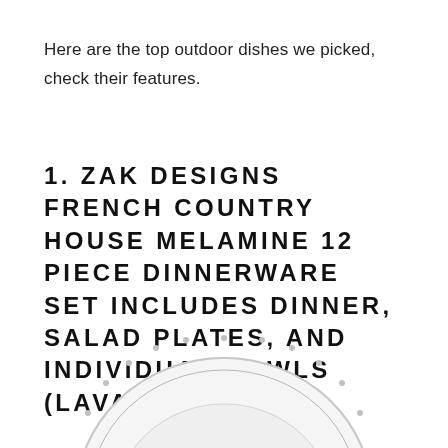Here are the top outdoor dishes we picked, check their features.
1. ZAK DESIGNS FRENCH COUNTRY HOUSE MELAMINE 12 PIECE DINNERWARE SET INCLUDES DINNER, SALAD PLATES, AND INDIVIDUAL BOWLS (LAVAGE OYSTER)
[Figure (photo): Partial view of a white melamine plate with decorative beaded rim, shown at the bottom of the page.]